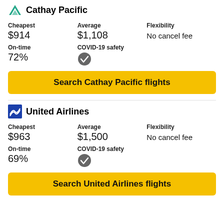Cathay Pacific
| Cheapest | Average | Flexibility |
| --- | --- | --- |
| $914 | $1,108 | No cancel fee |
| On-time | COVID-19 safety |
| --- | --- |
| 72% | ✓ |
Search Cathay Pacific flights
United Airlines
| Cheapest | Average | Flexibility |
| --- | --- | --- |
| $963 | $1,500 | No cancel fee |
| On-time | COVID-19 safety |
| --- | --- |
| 69% | ✓ |
Search United Airlines flights